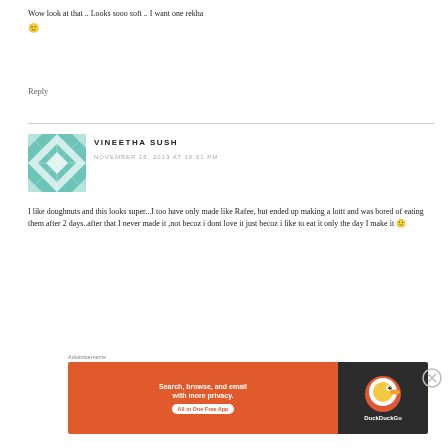Wow look at that .. Looks sooo soft .. I want one rekha 🙂
Reply
VINEETHA SUSH
NOVEMBER 18, 2013 AT 10:31 PM
I like doughnuts and this looks super...I too have only made like Rafee, but ended up making a lottt and was bored of eating them after 2 days..after that I never made it ,not becoz i dont love it just becoz i like to eat it only the day I make it 🙂
Advertisements
[Figure (screenshot): DuckDuckGo advertisement banner: orange section with text 'Search, browse, and email with more privacy. All in One Free App' and dark section with DuckDuckGo logo]